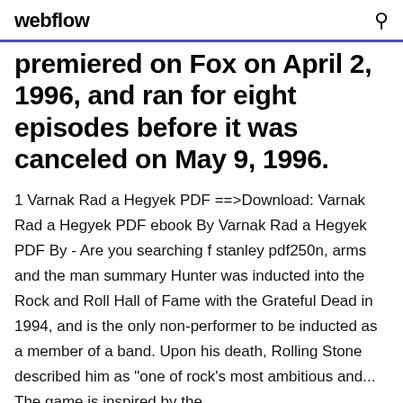webflow
premiered on Fox on April 2, 1996, and ran for eight episodes before it was canceled on May 9, 1996.
1 Varnak Rad a Hegyek PDF ==>Download: Varnak Rad a Hegyek PDF ebook By Varnak Rad a Hegyek PDF By - Are you searching f stanley pdf250n, arms and the man summary Hunter was inducted into the Rock and Roll Hall of Fame with the Grateful Dead in 1994, and is the only non-performer to be inducted as a member of a band. Upon his death, Rolling Stone described him as "one of rock's most ambitious and... The game is inspired by the